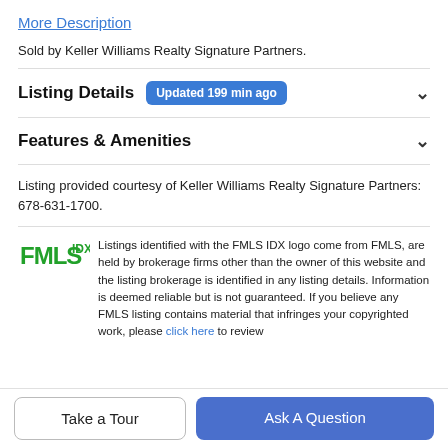More Description
Sold by Keller Williams Realty Signature Partners.
Listing Details   Updated 199 min ago
Features & Amenities
Listing provided courtesy of Keller Williams Realty Signature Partners: 678-631-1700.
Listings identified with the FMLS IDX logo come from FMLS, are held by brokerage firms other than the owner of this website and the listing brokerage is identified in any listing details. Information is deemed reliable but is not guaranteed. If you believe any FMLS listing contains material that infringes your copyrighted work, please click here to review
Take a Tour
Ask A Question